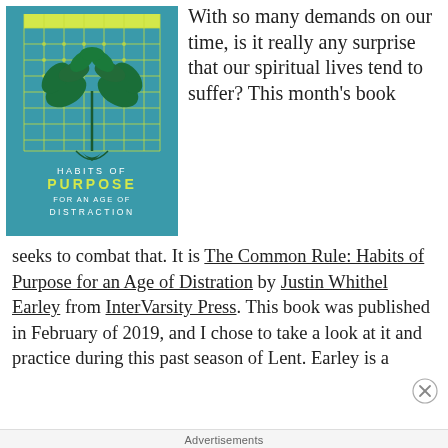[Figure (illustration): Book cover of 'Habits of Purpose for an Age of Distraction' — teal/blue background with a grid and plant/leaf illustration, yellow-green accent bar at top, white and yellow text.]
With so many demands on our time, is it really any surprise that our spiritual lives tend to suffer? This month's book seeks to combat that. It is The Common Rule: Habits of Purpose for an Age of Distration by Justin Whithel Earley from InterVarsity Press. This book was published in February of 2019, and I chose to take a look at it and practice during this past season of Lent. Earley is a
Advertisements